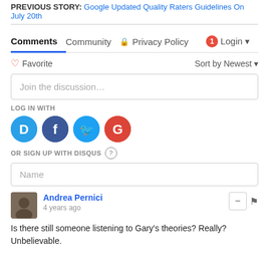PREVIOUS STORY: Google Updated Quality Raters Guidelines On July 20th
Comments  Community  Privacy Policy  Login
Favorite  Sort by Newest
Join the discussion…
LOG IN WITH
[Figure (illustration): Social login icons: Disqus (D), Facebook (f), Twitter bird, Google (G)]
OR SIGN UP WITH DISQUS ?
Name
Andrea Pernici
4 years ago
Is there still someone listening to Gary's theories? Really? Unbelievable.